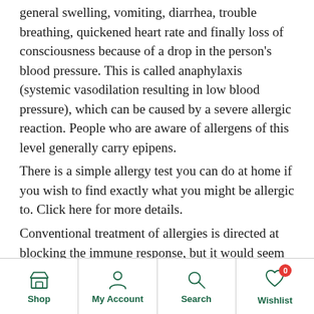general swelling, vomiting, diarrhea, trouble breathing, quickened heart rate and finally loss of consciousness because of a drop in the person's blood pressure. This is called anaphylaxis (systemic vasodilation resulting in low blood pressure), which can be caused by a severe allergic reaction. People who are aware of allergens of this level generally carry epipens.
There is a simple allergy test you can do at home if you wish to find exactly what you might be allergic to. Click here for more details.
Conventional treatment of allergies is directed at blocking the immune response, but it would seem wiser to identify the cause of the allergen rather than reduce immune response, which is needed for so many other things in the body. Even better than
Shop | My Account | Search | Wishlist